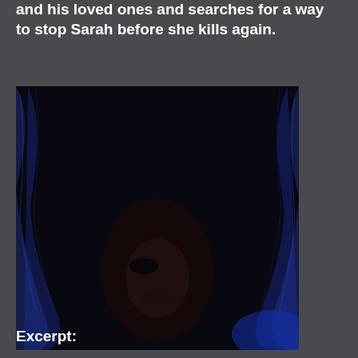and his loved ones and searches for a way to stop Sarah before she kills again.
[Figure (photo): A dark, eerie image of a woman with dark hair, partially obscured by a ghostly blue-tinted veil or shroud draped over her head. Her face is mostly in shadow with only faint features visible. The overall tone is very dark with deep blues and blacks, creating a horror atmosphere.]
Excerpt: